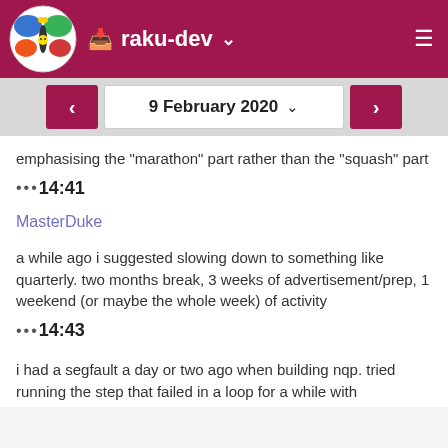raku-dev
9 February 2020
emphasising the "marathon" part rather than the "squash" part
... 14:41
MasterDuke
a while ago i suggested slowing down to something like quarterly. two months break, 3 weeks of advertisement/prep, 1 weekend (or maybe the whole week) of activity
... 14:43
i had a segfault a day or two ago when building nqp. tried running the step that failed in a loop for a while with